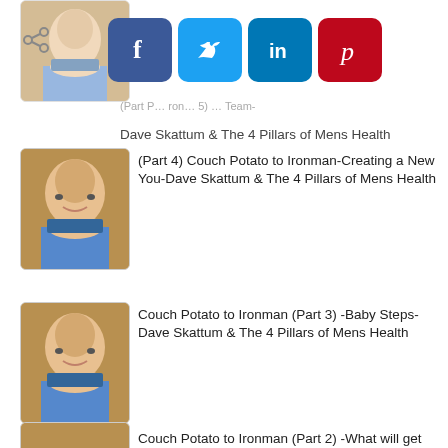[Figure (photo): Partial thumbnail of a man in a suit at the top of the page, cropped/faded]
[Figure (infographic): Social share bar with Facebook (blue), Twitter (light blue), LinkedIn (dark blue), and Pinterest (red) buttons, and a share icon]
(Part P... ron... 5) ... Team-
Dave Skattum & The 4 Pillars of Mens Health
[Figure (photo): Thumbnail photo of a smiling man in a blue shirt and tie, with dark blurred background]
(Part 4) Couch Potato to Ironman-Creating a New You-Dave Skattum & The 4 Pillars of Mens Health
[Figure (photo): Thumbnail photo of a smiling man in a blue shirt and tie, with dark blurred background]
Couch Potato to Ironman (Part 3) -Baby Steps-Dave Skattum & The 4 Pillars of Mens Health
[Figure (photo): Thumbnail photo of a smiling man in a blue shirt and tie, with dark blurred background]
Couch Potato to Ironman (Part 2) -What will get YOU